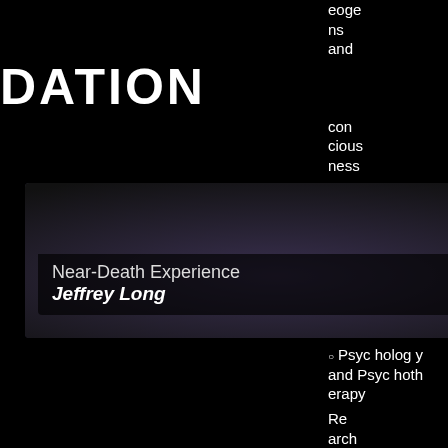DATION
eoge ns and con cious ness
[Figure (screenshot): Video thumbnail for Near-Death Experience talk by Jeffrey Long, dark background with presenter]
Near-Death Experience
Jeffrey Long
Psychology and Psychotherapy
Parapsychology and Psychological Research
FROM THE SAME CATEGORY
[Figure (screenshot): Video thumbnail showing two men in suits, one older with glasses and one younger, dark background]
Extra terrestrial Intelligence
James Harder (1926 - 2006)
Re arch